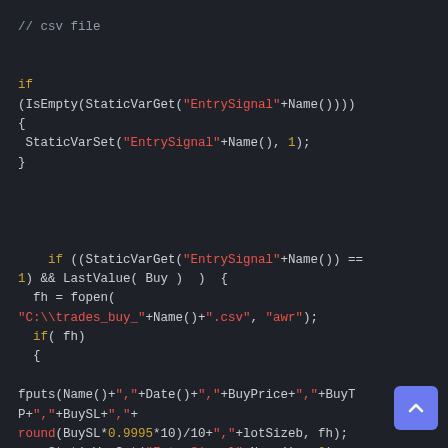[Figure (screenshot): Code editor screenshot showing AmiBroker AFL code for writing trade data to a CSV file, with syntax highlighting: keywords in gold/yellow, string literals in red, default text in light gray, on a dark background.]